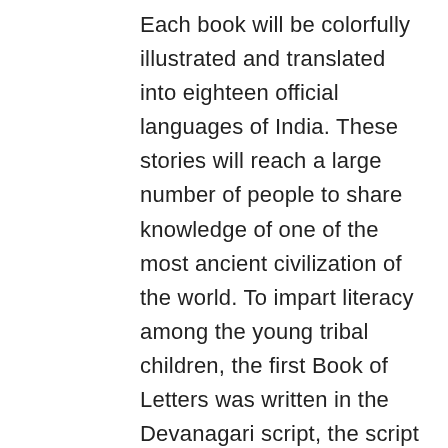Each book will be colorfully illustrated and translated into eighteen official languages of India. These stories will reach a large number of people to share knowledge of one of the most ancient civilization of the world. To impart literacy among the young tribal children, the first Book of Letters was written in the Devanagari script, the script that is officially accepted in the state of Andaman and Nicobar. The book contains multi-colored pictures and was distributed to every child in the community. The local administration has acknowledged that the project has